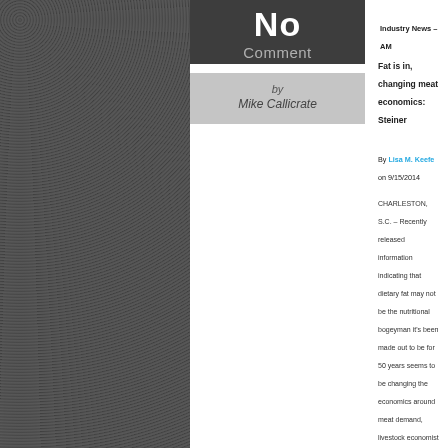No Comment
by Mike Callicrate
Industry News – AM
Fat is in, changing meat economics: Steiner
By Lisa M. Keefe on 9/15/2014
CHARLESTON, S.C. – Recently released information indicating that dietary fat may not be the nutritional bogeyman it's been made out to be for 50 years seems to be changing the economics around meat demand, livestock economist Len Steiner told an audience here at the North American Meat Association Outlook Conference.